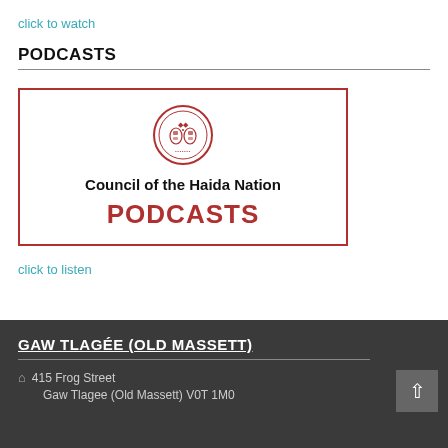click to watch
PODCASTS
[Figure (logo): Council of the Haida Nation Podcasts logo — a red circular seal with totem-style figures, text 'Council of the Haida Nation' in bold black, and 'PODCASTS' in large bold red letters, all inside a red rectangular border.]
click to listen
GAW TLAGÉE (OLD MASSETT)
415 Frog Street
Gaw Tlagee (Old Massett) V0T 1M0